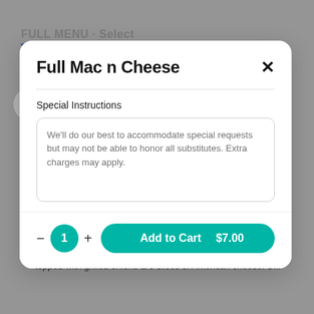Full Mac n Cheese
Special Instructions
We'll do our best to accommodate special requests but may not be able to honor all substitutes. Extra charges may apply.
1
Add to Cart   $7.00
$12.00
Served on grilled marble rye bread. A fully cooked beef patty topped with grilled onions & 3 slices of American cheese. S...